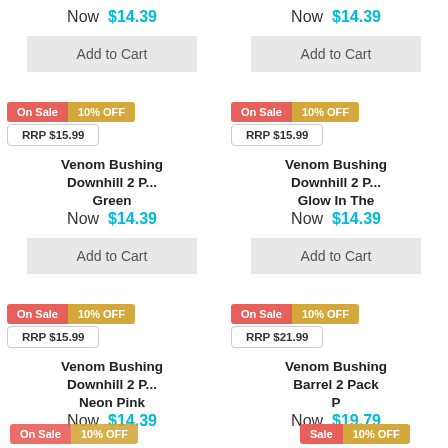Now $14.39
Now $14.39
Add to Cart
Add to Cart
On Sale  10% OFF  RRP $15.99  Venom Bushing Downhill 2 P... Green  Now $14.39
On Sale  10% OFF  RRP $15.99  Venom Bushing Downhill 2 P... Glow In The  Now $14.39
Add to Cart
Add to Cart
On Sale  10% OFF  RRP $15.99  Venom Bushing Downhill 2 P... Neon Pink  Now $14.39
On Sale  10% OFF  RRP $21.99  Venom Bushing Barrel 2 Pack P  Now $19.79
Add to Cart
Add to Cart